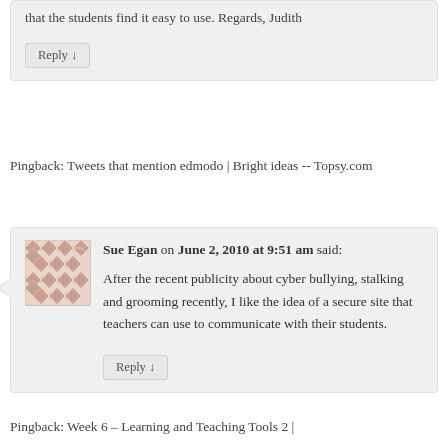that the students find it easy to use. Regards, Judith
Reply ↓
Pingback: Tweets that mention edmodo | Bright ideas -- Topsy.com
Sue Egan on June 2, 2010 at 9:51 am said:
After the recent publicity about cyber bullying, stalking and grooming recently, I like the idea of a secure site that teachers can use to communicate with their students.
Reply ↓
Pingback: Week 6 – Learning and Teaching Tools 2 |